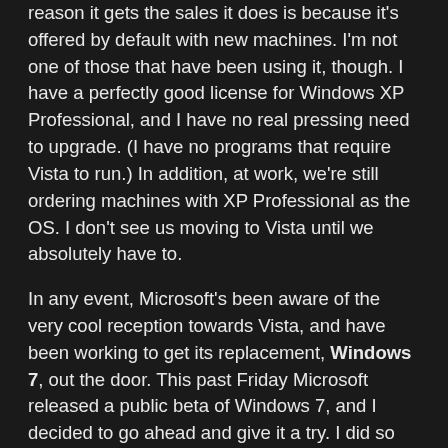reason it gets the sales it does is because it's offered by default with new machines. I'm not one of those that have been using it, though. I have a perfectly good license for Windows XP Professional, and I have no real pressing need to upgrade. (I have no programs that require Vista to run.) In addition, at work, we're still ordering machines with XP Professional as the OS. I don't see us moving to Vista until we absolutely have to.
In any event, Microsoft's been aware of the very cool reception towards Vista, and have been working to get its replacement, Windows 7, out the door. This past Friday Microsoft released a public beta of Windows 7, and I decided to go ahead and give it a try. I did so for Vista when it was in release candidate form, and I figured doing so for Windows 7 wouldn't hurt this time either.
However, seeing as I'd just as soon have a completely functional main PC and not deal with any real issues with having a main machine that doesn't work, I've taken a slightly different approach this time around and installed Windows 7 in a virtual machine. It's definitely a less than ideal situation, as my main PC only has 2 GB of RAM in it and Microsoft recommends